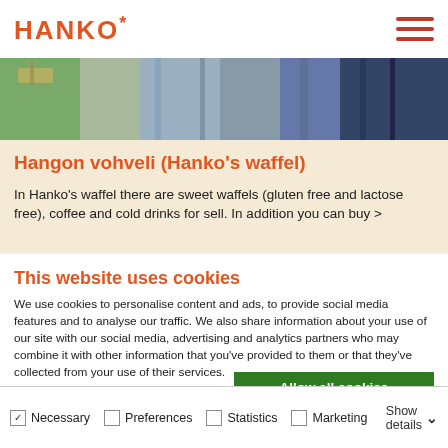HANKO*
[Figure (photo): Outdoor photo strip showing a waterfront or marina scene with muted colors, partially visible]
Hangon vohveli (Hanko's waffel)
In Hanko's waffel there are sweet waffels (gluten free and lactose free), coffee and cold drinks for sell. In addition you can buy >
This website uses cookies
We use cookies to personalise content and ads, to provide social media features and to analyse our traffic. We also share information about your use of our site with our social media, advertising and analytics partners who may combine it with other information that you've provided to them or that they've collected from your use of their services.
Allow all cookies
Allow selection
Use necessary cookies only
Necessary  Preferences  Statistics  Marketing  Show details